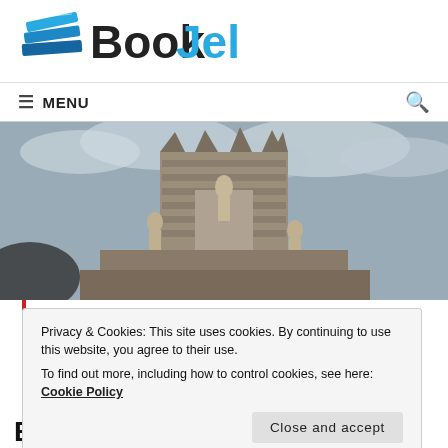[Figure (logo): BookJelly logo: stacked books icon in blue on the left, text 'Book' in dark gray/black and 'Jelly' in blue, bold large font]
≡ MENU  🔍
[Figure (photo): Photo of a large stone monument or column base with classical sculptures and statues, overcast sky in background]
Privacy & Cookies: This site uses cookies. By continuing to use this website, you agree to their use.
To find out more, including how to control cookies, see here: Cookie Policy
Close and accept
B...